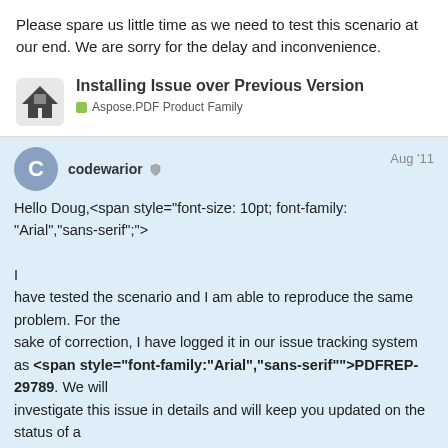Please spare us little time as we need to test this scenario at our end. We are sorry for the delay and inconvenience.
Installing Issue over Previous Version
Aspose.PDF Product Family
codewarior  Aug '11
Hello Doug,<span style="font-size: 10pt; font-family: "Arial","sans-serif";">
I have tested the scenario and I am able to reproduce the same problem. For the sake of correction, I have logged it in our issue tracking system as <span style="font-family:"Arial","sans-serif"">PDFREP-29789. We will investigate this issue in details and will keep you updated on the status of a correction.<!--[if gte mso 9]> <w:WordDocument>
5 / 12